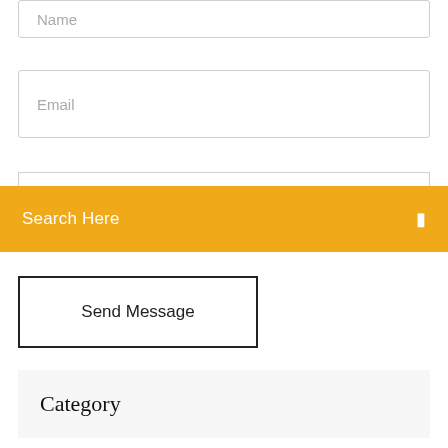Name
Email
Search Here
Send Message
Category
Where are downloaded videos stored in dailymotion app